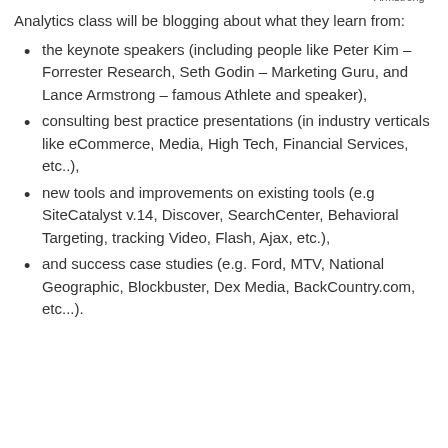Analytics class will be blogging about what they learn from:
[Figure (photo): Small placeholder image labeled 'Lance Armstrong']
the keynote speakers (including people like Peter Kim – Forrester Research, Seth Godin – Marketing Guru, and Lance Armstrong – famous Athlete and speaker),
consulting best practice presentations (in industry verticals like eCommerce, Media, High Tech, Financial Services, etc..),
new tools and improvements on existing tools (e.g SiteCatalyst v.14, Discover, SearchCenter, Behavioral Targeting, tracking Video, Flash, Ajax, etc.),
and success case studies (e.g. Ford, MTV, National Geographic, Blockbuster, Dex Media, BackCountry.com, etc...).